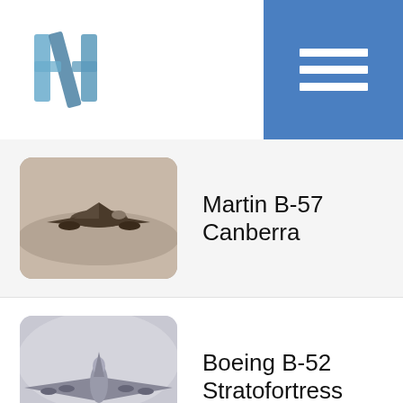[Figure (logo): Blue and gray stylized letter H logo with diagonal slash]
[Figure (other): Hamburger menu button (three white horizontal bars on blue square background)]
Martin B-57 Canberra
Boeing B-52 Stratofortress
[Figure (other): Partial blue rounded rectangle visible at bottom of page, third list item thumbnail]